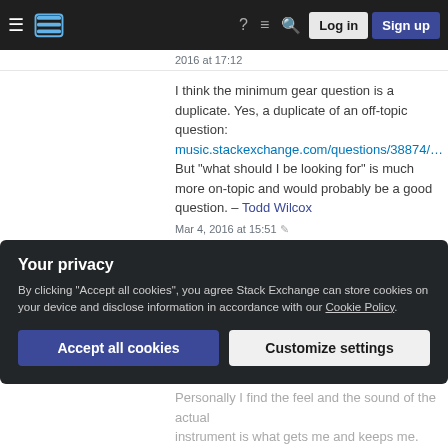Stack Exchange navigation bar with hamburger menu, logo, help, chat, search icons, Log in and Sign up buttons
I think the minimum gear question is a duplicate. Yes, a duplicate of an off-topic question: music.stackexchange.com/questions/38874/… But "what should I be looking for" is much more on-topic and would probably be a good question. – Todd Wilcox Mar 4, 2016 at 15:51
@KolobCanyon do children start learning the drums from reading the patterns? Or do they start more empirically? What do you think would work better for an adult with a sense of rhythm (I have formal dance training). – georgiosd Mar 4, 2016 at 18:59
Your privacy
By clicking "Accept all cookies", you agree Stack Exchange can store cookies on your device and disclose information in accordance with our Cookie Policy.
[Accept all cookies] [Customize settings]
Personally I find the feel and the sound of the actual instrument is what gets me and keeps me. That's how I